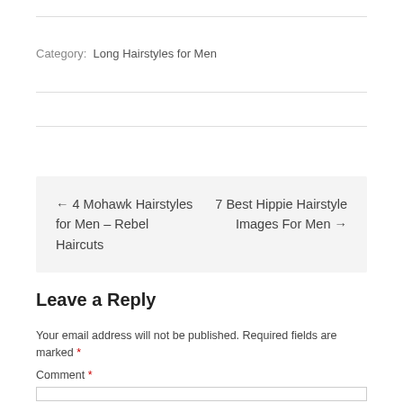Category: Long Hairstyles for Men
← 4 Mohawk Hairstyles for Men – Rebel Haircuts    7 Best Hippie Hairstyle Images For Men →
Leave a Reply
Your email address will not be published. Required fields are marked *
Comment *